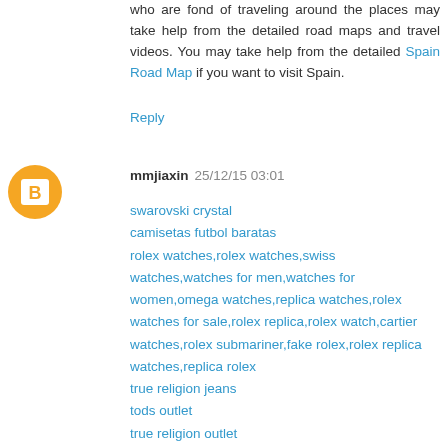who are fond of traveling around the places may take help from the detailed road maps and travel videos. You may take help from the detailed Spain Road Map if you want to visit Spain.
Reply
[Figure (illustration): Orange circular avatar icon with a white letter B in the center]
mmjiaxin  25/12/15 03:01
swarovski crystal
camisetas futbol baratas
rolex watches,rolex watches,swiss watches,watches for men,watches for women,omega watches,replica watches,rolex watches for sale,rolex replica,rolex watch,cartier watches,rolex submariner,fake rolex,rolex replica watches,replica rolex
true religion jeans
tods outlet
true religion outlet
mulberry handbags
tiffany and co
ysl outlet
fitflops uk